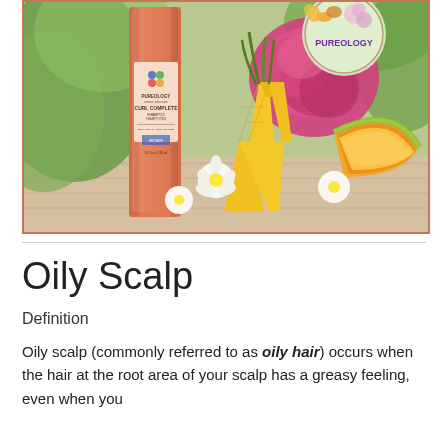[Figure (photo): Product photo of Pureology Curl Complete Shampoo bottle (copper/rose gold color) surrounded by tropical fruits (pineapple slices, cantaloupe), white plumeria flowers, pink peony flower, and green leaves on a wooden surface. The Pureology logo appears in a circular badge in the upper right.]
Oily Scalp
Definition
Oily scalp (commonly referred to as oily hair) occurs when the hair at the root area of your scalp has a greasy feeling, even when you